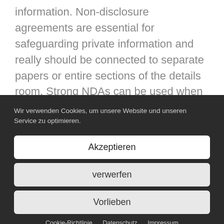information. Non-disclosure agreements are essential for safeguarding private information and really should be connected to separate papers or entire sections of the details room. Strong NDAs can be used when files are regularly changing, requiring viewers to sign a contract every time that they view a new version. When ever setting up a data room, it is
Wir verwenden Cookies, um unsere Website und unseren Service zu optimieren.
Akzeptieren
verwerfen
Vorlieben
Cookie-Richtlinie  Datenschutz  Impressum